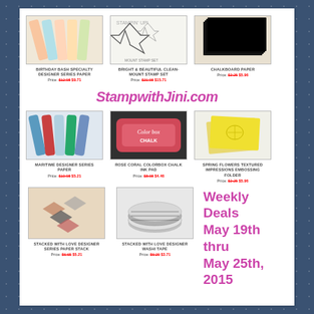[Figure (photo): Birthday Bash Specialty Designer Series Paper - rolled paper sheets in pastel colors]
BIRTHDAY BASH SPECIALTY DESIGNER SERIES PAPER
Price: $12.98 $9.71
[Figure (photo): Bright & Beautiful Clean-Mount Stamp Set - star shaped stamps]
BRIGHT & BEAUTIFUL CLEAN-MOUNT STAMP SET
Price: $21.98 $15.71
[Figure (photo): Chalkboard Paper - black paper sheets]
CHALKBOARD PAPER
Price: $2.25 $5.96
StampwithJini.com
[Figure (photo): Maritime Designer Series Paper - rolled paper sheets in blue, teal, red]
MARITIME DESIGNER SERIES PAPER
Price: $10.98 $5.21
[Figure (photo): Rose Coral Colorbox Chalk Ink Pad - pink/coral ink pad]
ROSE CORAL COLORBOX CHALK INK PAD
Price: $8.98 $4.46
[Figure (photo): Spring Flowers Textured Impressions Embossing Folder - yellow folders]
SPRING FLOWERS TEXTURED IMPRESSIONS EMBOSSING FOLDER
Price: $2.25 $5.96
[Figure (photo): Stacked with Love Designer Series Paper Stack - chevron pattern paper]
STACKED WITH LOVE DESIGNER SERIES PAPER STACK
Price: $6.65 $5.21
[Figure (photo): Stacked with Love Designer Washi Tape - rolls of striped washi tape]
STACKED WITH LOVE DESIGNER WASHI TAPE
Price: $6.20 $3.71
Weekly Deals May 19th thru May 25th, 2015